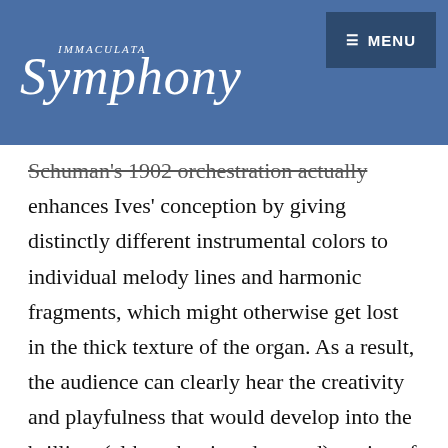[Figure (logo): Immaculata Symphony logo in white italic script on blue background header, with MENU button top right]
Schuman's 1902 orchestration actually enhances Ives' conception by giving distinctly different instrumental colors to individual melody lines and harmonic fragments, which might otherwise get lost in the thick texture of the organ. As a result, the audience can clearly hear the creativity and playfulness that would develop into the brilliant (although misunderstood) genius of the mature Charles Ives
Related and More from Ath...